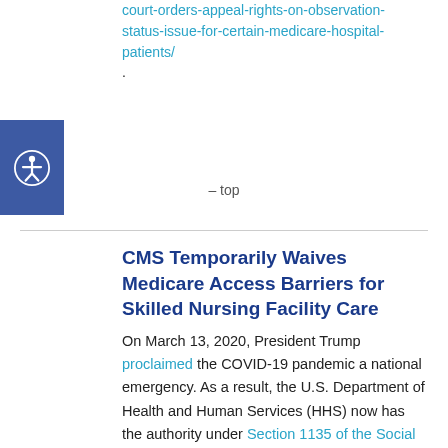court-orders-appeal-rights-on-observation-status-issue-for-certain-medicare-hospital-patients/.
– top
CMS Temporarily Waives Medicare Access Barriers for Skilled Nursing Facility Care
On March 13, 2020, President Trump proclaimed the COVID-19 pandemic a national emergency. As a result, the U.S. Department of Health and Human Services (HHS) now has the authority under Section 1135 of the Social Security Act to waive or modify certain requirements of public